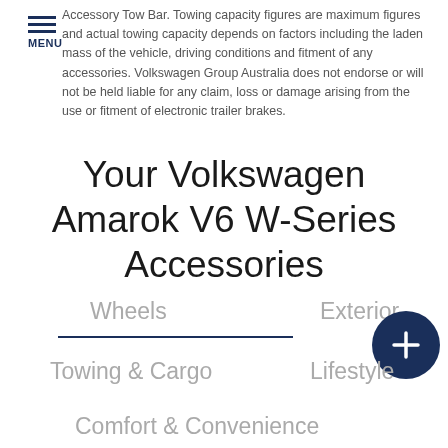MENU
Accessory Tow Bar. Towing capacity figures are maximum figures and actual towing capacity depends on factors including the laden mass of the vehicle, driving conditions and fitment of any accessories. Volkswagen Group Australia does not endorse or will not be held liable for any claim, loss or damage arising from the use or fitment of electronic trailer brakes.
Your Volkswagen Amarok V6 W-Series Accessories
Wheels
Exterior
Towing & Cargo
Lifestyle
Comfort & Convenience